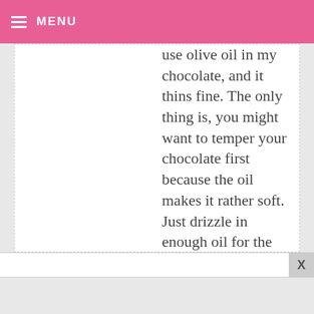MENU
use olive oil in my chocolate, and it thins fine. The only thing is, you might want to temper your chocolate first because the oil makes it rather soft. Just drizzle in enough oil for the choc/coating to be thin enough for your preference, but don't overdo it...if too much oil gets in, salvage the mixture by simply adding more melted chocolate. Voila! ^_^